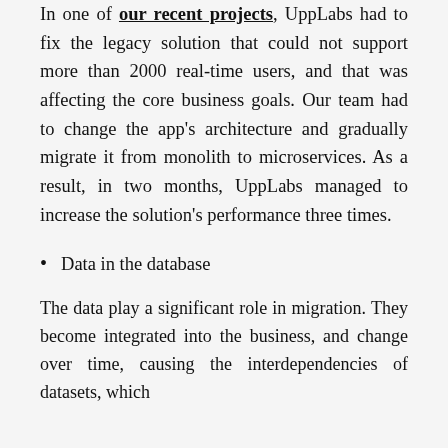In one of our recent projects, UppLabs had to fix the legacy solution that could not support more than 2000 real-time users, and that was affecting the core business goals. Our team had to change the app's architecture and gradually migrate it from monolith to microservices. As a result, in two months, UppLabs managed to increase the solution's performance three times.
Data in the database
The data play a significant role in migration. They become integrated into the business, and change over time, causing the interdependencies of datasets, which